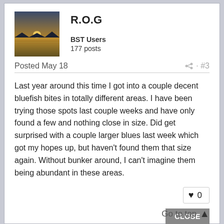[Figure (photo): User avatar photo showing a sunset over water with dark silhouette of land]
R.O.G
BST Users
177 posts
Posted May 18
#3
Last year around this time I got into a couple decent bluefish bites in totally different areas. I have been trying those spots last couple weeks and have only found a few and nothing close in size. Did get surprised with a couple larger blues last week which got my hopes up, but haven't found them that size again. Without bunker around, I can't imagine them being abundant in these areas.
♥ 0
CLOSE
Go to top ▲